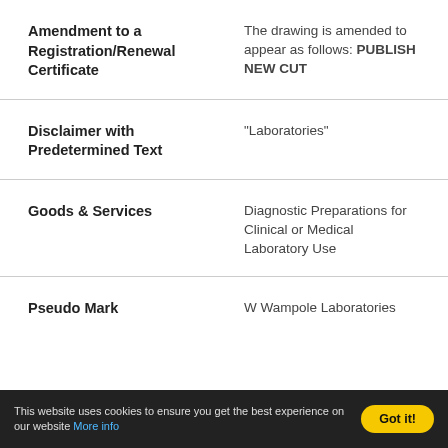Amendment to a Registration/Renewal Certificate
The drawing is amended to appear as follows: PUBLISH NEW CUT
Disclaimer with Predetermined Text
"Laboratories"
Goods & Services
Diagnostic Preparations for Clinical or Medical Laboratory Use
Pseudo Mark
W Wampole Laboratories
This website uses cookies to ensure you get the best experience on our website More info